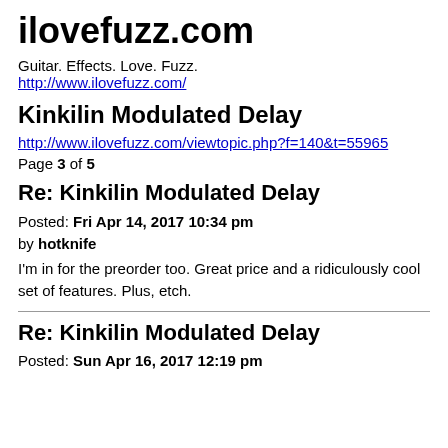ilovefuzz.com
Guitar. Effects. Love. Fuzz.
http://www.ilovefuzz.com/
Kinkilin Modulated Delay
http://www.ilovefuzz.com/viewtopic.php?f=140&t=55965
Page 3 of 5
Re: Kinkilin Modulated Delay
Posted: Fri Apr 14, 2017 10:34 pm
by hotknife
I'm in for the preorder too. Great price and a ridiculously cool set of features. Plus, etch.
Re: Kinkilin Modulated Delay
Posted: Sun Apr 16, 2017 12:19 pm